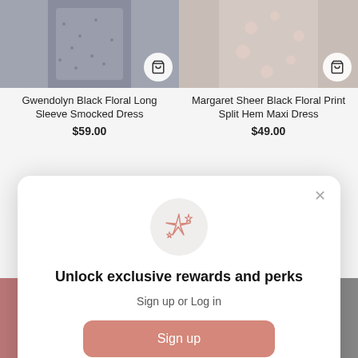[Figure (screenshot): Product image of Gwendolyn Black Floral Long Sleeve Smocked Dress with shopping cart icon]
[Figure (screenshot): Product image of Margaret Sheer Black Floral Print Split Hem Maxi Dress with shopping cart icon]
Gwendolyn Black Floral Long Sleeve Smocked Dress
$59.00
Margaret Sheer Black Floral Print Split Hem Maxi Dress
$49.00
[Figure (screenshot): Modal popup with sparkle icon, unlock exclusive rewards and perks message, sign up and log in options]
Unlock exclusive rewards and perks
Sign up or Log in
Sign up
Already have an account? Sign in